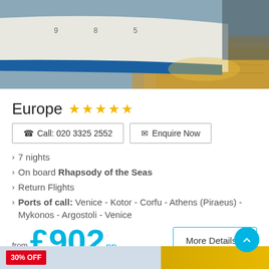[Figure (photo): Ship bow/hull close-up with blue hull and golden water reflection]
Europe ★★★★★
Call: 020 3325 2552 | Enquire Now
7 nights
On board Rhapsody of the Seas
Return Flights
Ports of call: Venice - Kotor - Corfu - Athens (Piraeus) - Mykonos - Argostoli - Venice
from £902 pp
More Details >
30% OFF